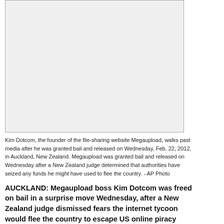[Figure (photo): Photo of Kim Dotcom walking past media after being granted bail]
Kim Dotcom, the founder of the file-sharing website Megaupload, walks past media after he was granted bail and released on Wednesday, Feb. 22, 2012, in Auckland, New Zealand. Megaupload was granted bail and released on Wednesday after a New Zealand judge determined that authorities have seized any funds he might have used to flee the country. - AP Photo
AUCKLAND: Megaupload boss Kim Dotcom was freed on bail in a surprise move Wednesday, after a New Zealand judge dismissed fears the internet tycoon would flee the country to escape US online piracy charges.
The 38-year-old German national said he was relieved to be released following a month in custody afterNew Zealand police, cooperating with a major US probe, raided his sprawling “Dotcom Mansion” in Auckland.
Dotcom’s lawyer Paul Davison said his client remained